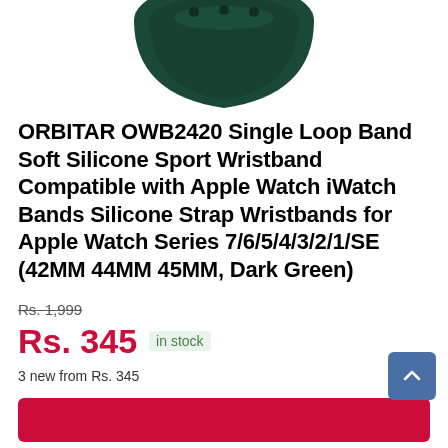[Figure (photo): Dark green silicone Apple Watch band / wristband shown from above, curved shape visible against white background]
ORBITAR OWB2420 Single Loop Band Soft Silicone Sport Wristband Compatible with Apple Watch iWatch Bands Silicone Strap Wristbands for Apple Watch Series 7/6/5/4/3/2/1/SE (42MM 44MM 45MM, Dark Green)
Rs. 1,999
Rs. 345 in stock
3 new from Rs. 345